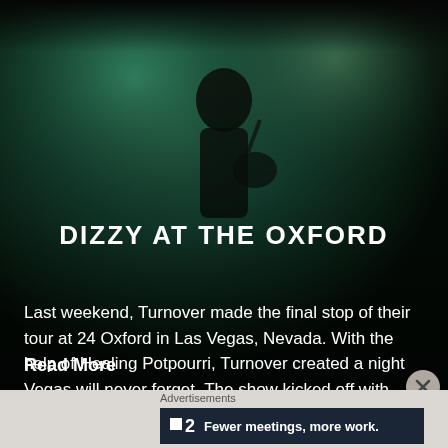[Figure (photo): Concert photo of a guitarist performing on stage with green/teal stage lighting and blurred background. Dark moody atmosphere.]
DIZZY AT THE OXFORD
Last weekend, Turnover made the final stop of their tour at 24 Oxford in Las Vegas, Nevada. With the help of Healing Potpourri, Turnover created a night Vegas will never forget. The show kicked off with Healing Potpourri who captivated the crowd with their dreamy sound and visuals. They had the crowd swaying side to [...]
Read More
Advertisements
[Figure (screenshot): Dark advertisement banner for '2 - Fewer meetings, more work.' with a small white square icon on the left]